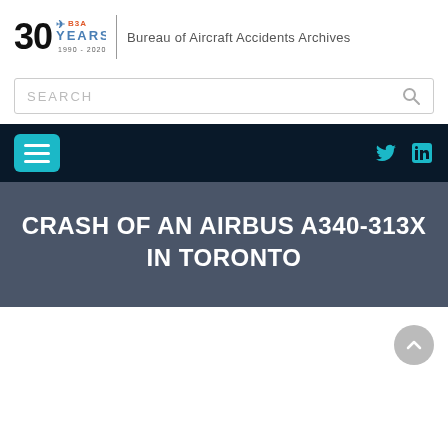[Figure (logo): Bureau of Aircraft Accidents Archives logo: '30 YEARS 1990-2020' with B3A text and bird graphic, followed by a vertical divider and site name text]
[Figure (screenshot): Search bar with placeholder text 'SEARCH' and a magnifying glass icon]
[Figure (screenshot): Dark navy navigation bar with teal hamburger menu button on left and teal Twitter and LinkedIn icons on right]
CRASH OF AN AIRBUS A340-313X IN TORONTO
[Figure (screenshot): Scroll-to-top circular button with upward arrow, gray, positioned bottom right]